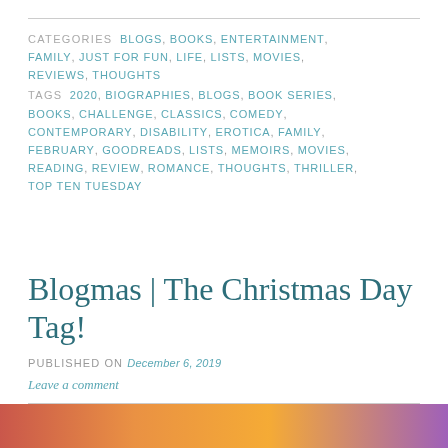CATEGORIES BLOGS, BOOKS, ENTERTAINMENT, FAMILY, JUST FOR FUN, LIFE, LISTS, MOVIES, REVIEWS, THOUGHTS
TAGS 2020, BIOGRAPHIES, BLOGS, BOOK SERIES, BOOKS, CHALLENGE, CLASSICS, COMEDY, CONTEMPORARY, DISABILITY, EROTICA, FAMILY, FEBRUARY, GOODREADS, LISTS, MEMOIRS, MOVIES, READING, REVIEW, ROMANCE, THOUGHTS, THRILLER, TOP TEN TUESDAY
Blogmas | The Christmas Day Tag!
PUBLISHED ON December 6, 2019
Leave a comment
[Figure (photo): Partial image strip at bottom of page with warm orange, red and purple tones]